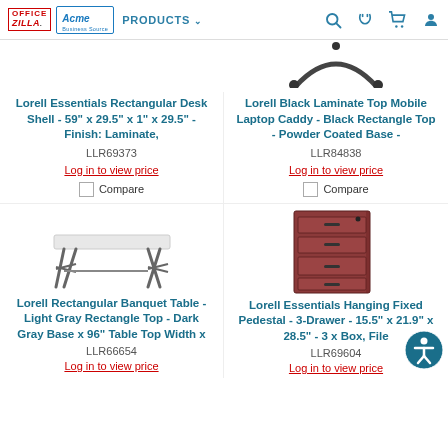OfficeZilla | Acme | PRODUCTS | Search | Phone | Cart | Account
Lorell Essentials Rectangular Desk Shell - 59" x 29.5" x 1" x 29.5" - Finish: Laminate,
LLR69373
Log in to view price
Compare
Lorell Black Laminate Top Mobile Laptop Caddy - Black Rectangle Top - Powder Coated Base -
LLR84838
Log in to view price
Compare
[Figure (photo): Lorell Rectangular Banquet Table - light gray rectangle top, dark gray folding base]
Lorell Rectangular Banquet Table - Light Gray Rectangle Top - Dark Gray Base x 96" Table Top Width x
LLR66654
Log in to view price
[Figure (photo): Lorell Essentials Hanging Fixed Pedestal - 3-drawer cherry wood filing cabinet]
Lorell Essentials Hanging Fixed Pedestal - 3-Drawer - 15.5" x 21.9" x 28.5" - 3 x Box, File
LLR69604
Log in to view price